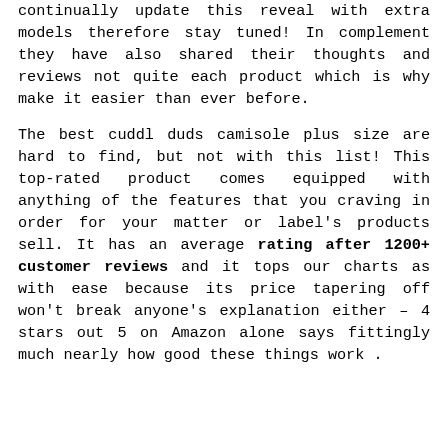continually update this reveal with extra models therefore stay tuned! In complement they have also shared their thoughts and reviews not quite each product which is why make it easier than ever before.
The best cuddl duds camisole plus size are hard to find, but not with this list! This top-rated product comes equipped with anything of the features that you craving in order for your matter or label's products sell. It has an average rating after 1200+ customer reviews and it tops our charts as with ease because its price tapering off won't break anyone's explanation either – 4 stars out 5 on Amazon alone says fittingly much nearly how good these things work .